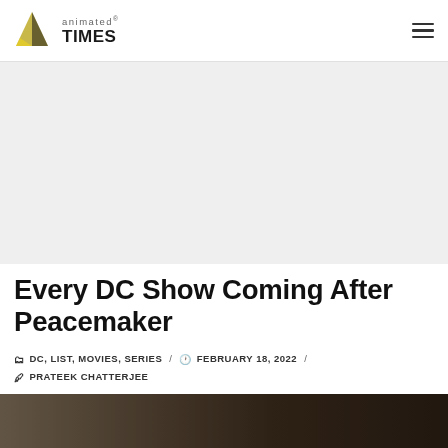Animated Times
Every DC Show Coming After Peacemaker
DC, LIST, MOVIES, SERIES / FEBRUARY 18, 2022 / PRATEEK CHATTERJEE
[Figure (photo): Bottom strip of an article hero image, dark toned photo]